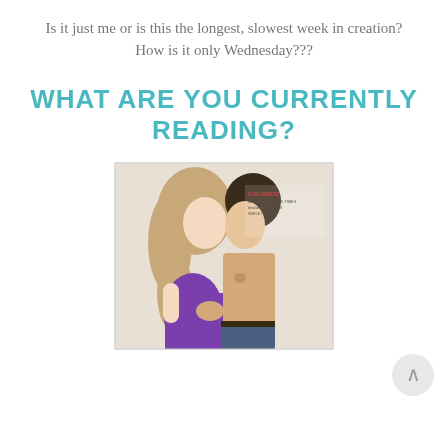Is it just me or is this the longest, slowest week in creation?
How is it only Wednesday???
WHAT ARE YOU CURRENTLY READING?
[Figure (photo): Book cover showing a young man and woman in a romantic close pose. The woman is wearing a purple top with long blonde wavy hair. The man is shirtless with dark hair. Small text at top reads author attribution. The cover appears to be a romance novel.]